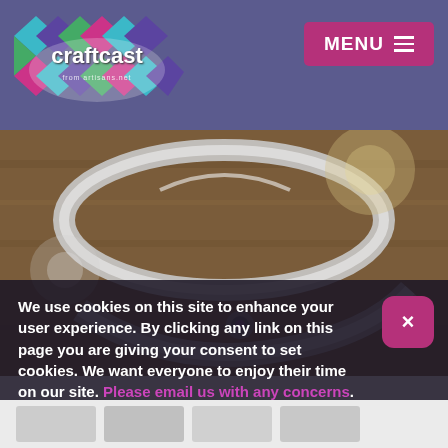Craftcast – MENU navigation header
[Figure (logo): Craftcast logo with colorful diamond/argyle pattern and text 'craftcast' with tagline]
[Figure (photo): Close-up photo of a silver metal bangle/cuff bracelet with a small purple gemstone, on a wooden surface]
We use cookies on this site to enhance your user experience. By clicking any link on this page you are giving your consent to set cookies. We want everyone to enjoy their time on our site. Please email us with any concerns.